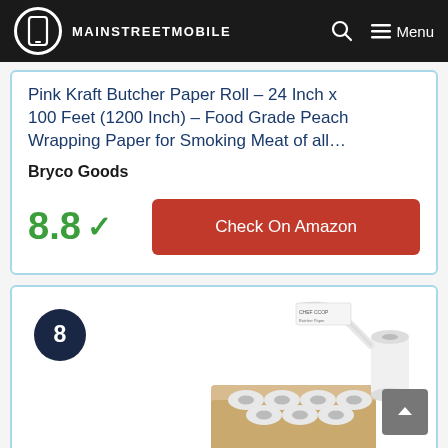MAINSTREETMOBILE
Pink Kraft Butcher Paper Roll – 24 Inch x 100 Feet (1200 Inch) – Food Grade Peach Wrapping Paper for Smoking Meat of all…
Bryco Goods
8.8 ✓
Check On Amazon
8